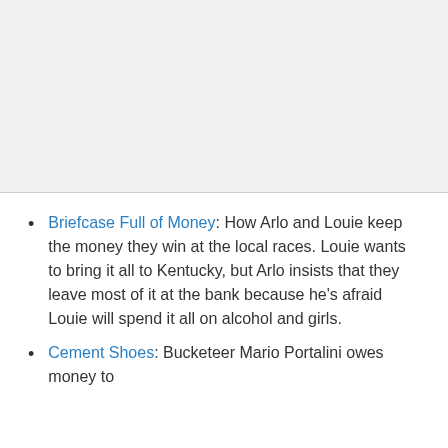[Figure (other): Large gray placeholder/blank image area occupying the top portion of the page]
Briefcase Full of Money: How Arlo and Louie keep the money they win at the local races. Louie wants to bring it all to Kentucky, but Arlo insists that they leave most of it at the bank because he's afraid Louie will spend it all on alcohol and girls.
Cement Shoes: Bucketeer Mario Portalini owes money to